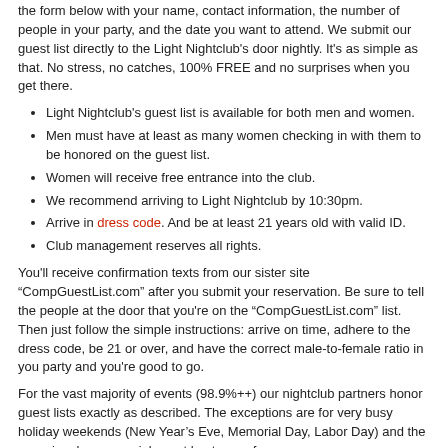the form below with your name, contact information, the number of people in your party, and the date you want to attend. We submit our guest list directly to the Light Nightclub's door nightly. It's as simple as that. No stress, no catches, 100% FREE and no surprises when you get there.
Light Nightclub's guest list is available for both men and women.
Men must have at least as many women checking in with them to be honored on the guest list.
Women will receive free entrance into the club.
We recommend arriving to Light Nightclub by 10:30pm.
Arrive in dress code. And be at least 21 years old with valid ID.
Club management reserves all rights.
You'll receive confirmation texts from our sister site “CompGuestList.com” after you submit your reservation. Be sure to tell the people at the door that you're on the “CompGuestList.com” list. Then just follow the simple instructions: arrive on time, adhere to the dress code, be 21 or over, and have the correct male-to-female ratio in you party and you're good to go.
For the vast majority of events (98.9%++) our nightclub partners honor guest lists exactly as described. The exceptions are for very busy holiday weekends (New Year’s Eve, Memorial Day, Labor Day) and the occasional very special guest host or performer.